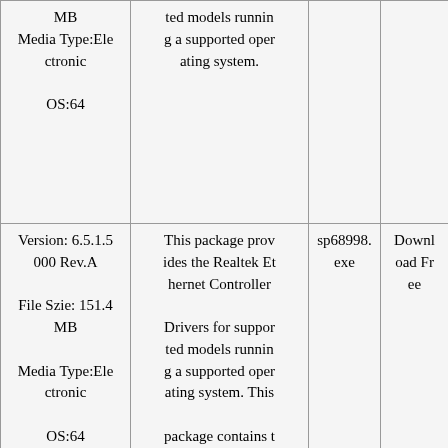| MB
Media Type:Electronic
OS:64 | ted models running a supported operating system. |  |  |
| Version: 6.5.1.5000 Rev.A
File Szie: 151.4 MB
Media Type:Electronic
OS:64 | This package provides the Realtek Ethernet Controller Drivers for supported models running a supported operating system. This package contains the Realtek NIC Drivers for the supported desktop models and operating systems. This release provides Microsoft Windows 7/8/... | sp68998.exe | Download Free |